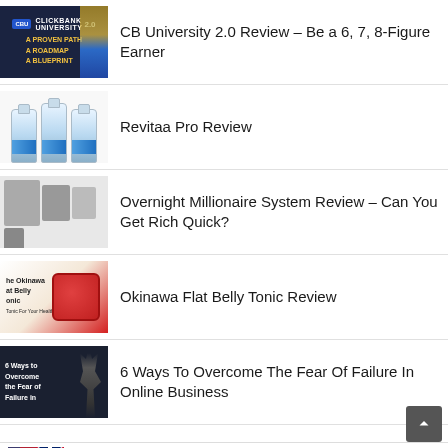CB University 2.0 Review – Be a 6, 7, 8-Figure Earner
Revitaa Pro Review
Overnight Millionaire System Review – Can You Get Rich Quick?
Okinawa Flat Belly Tonic Review
6 Ways To Overcome The Fear Of Failure In Online Business
12 Productivity Hacks for Online Small